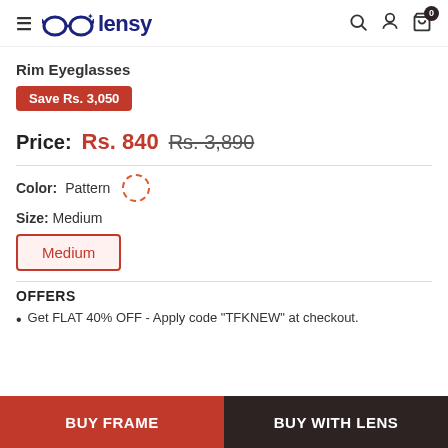lensy
Rim Eyeglasses
Save Rs. 3,050
Price: Rs. 840  Rs. 3,890
Color: Pattern
Size: Medium
Medium
OFFERS
Get FLAT 40% OFF - Apply code "TFKNEW" at checkout.
BUY FRAME
BUY WITH LENS